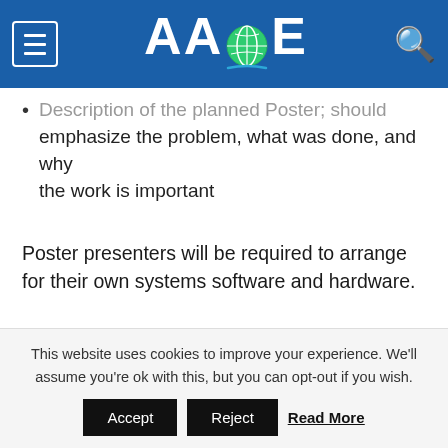AACE (header with logo and navigation)
Description of the planned Poster; should emphasize the problem, what was done, and why the work is important
Poster presenters will be required to arrange for their own systems software and hardware.
INNOVATORS PLAYGROUND EXHIBITS
This website uses cookies to improve your experience. We'll assume you're ok with this, but you can opt-out if you wish.